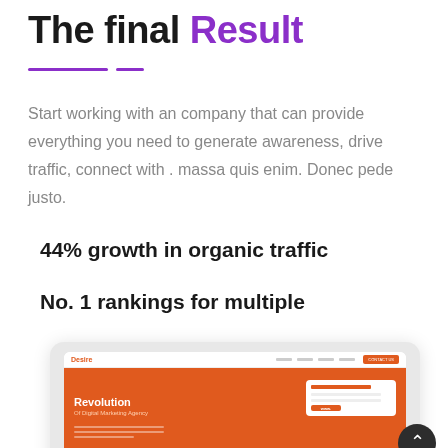The final Result
Start working with an company that can provide everything you need to generate awareness, drive traffic, connect with . massa quis enim. Donec pede justo.
44% growth in organic traffic
No. 1 rankings for multiple
[Figure (screenshot): Screenshot of a website called 'Desire' showing a digital marketing agency homepage with the headline 'Revolution Of Digital Marketing Agency' on an orange hero banner, with a contact form on the right side.]